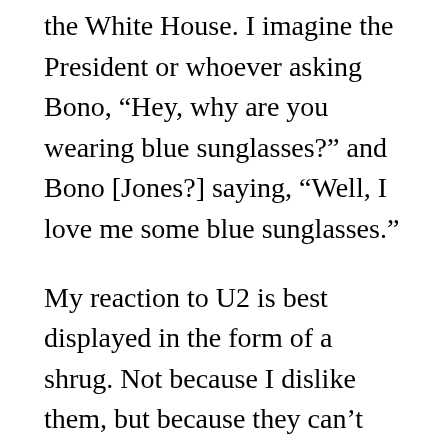the White House. I imagine the President or whoever asking Bono, “Hey, why are you wearing blue sunglasses?” and Bono [Jones?] saying, “Well, I love me some blue sunglasses.”
My reaction to U2 is best displayed in the form of a shrug. Not because I dislike them, but because they can’t live up to the hype that surrounds them. They cannot ascend to the zenith where their deification is validated. We’ve all had the experience of hearing about a must-see movie, of having